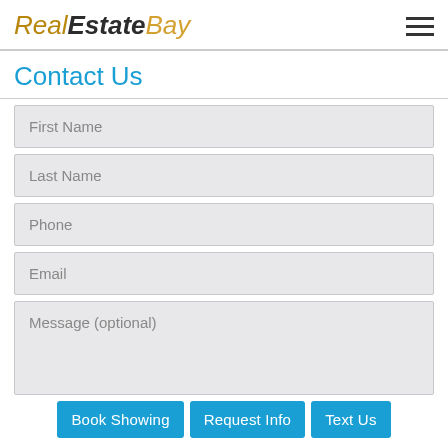RealEstateBay
Contact Us
First Name
Last Name
Phone
Email
Message (optional)
Book Showing | Request Info | Text Us
CALL 416.800.1055